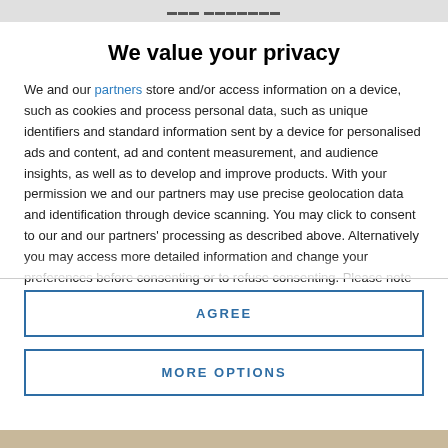[browser header bar]
We value your privacy
We and our partners store and/or access information on a device, such as cookies and process personal data, such as unique identifiers and standard information sent by a device for personalised ads and content, ad and content measurement, and audience insights, as well as to develop and improve products. With your permission we and our partners may use precise geolocation data and identification through device scanning. You may click to consent to our and our partners' processing as described above. Alternatively you may access more detailed information and change your preferences before consenting or to refuse consenting. Please note that some processing of your personal data may not require your consent, but you have a right to
AGREE
MORE OPTIONS